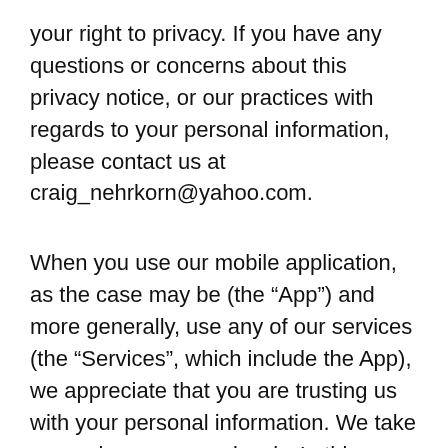your right to privacy. If you have any questions or concerns about this privacy notice, or our practices with regards to your personal information, please contact us at craig_nehrkorn@yahoo.com.
When you use our mobile application, as the case may be (the “App”) and more generally, use any of our services (the “Services”, which include the App), we appreciate that you are trusting us with your personal information. We take your privacy very seriously. In this privacy notice, we seek to explain to you in the clearest way possible what information we collect, how we use it and what rights you have in relation to it. We hope you take some time to read through it carefully, as it is important. If there are any terms in this privacy notice that you do not agree with, please discontinue use of our Services immediately.